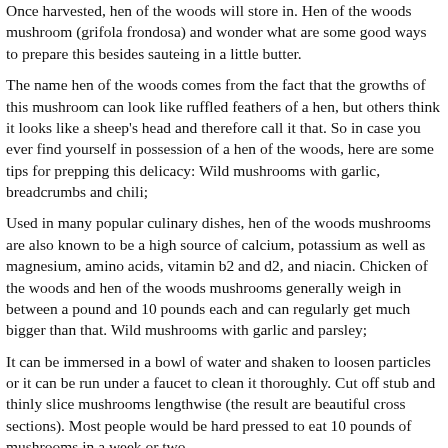Once harvested, hen of the woods will store in. Hen of the woods mushroom (grifola frondosa) and wonder what are some good ways to prepare this besides sauteing in a little butter.
The name hen of the woods comes from the fact that the growths of this mushroom can look like ruffled feathers of a hen, but others think it looks like a sheep's head and therefore call it that. So in case you ever find yourself in possession of a hen of the woods, here are some tips for prepping this delicacy: Wild mushrooms with garlic, breadcrumbs and chili;
Used in many popular culinary dishes, hen of the woods mushrooms are also known to be a high source of calcium, potassium as well as magnesium, amino acids, vitamin b2 and d2, and niacin. Chicken of the woods and hen of the woods mushrooms generally weigh in between a pound and 10 pounds each and can regularly get much bigger than that. Wild mushrooms with garlic and parsley;
It can be immersed in a bowl of water and shaken to loosen particles or it can be run under a faucet to clean it thoroughly. Cut off stub and thinly slice mushrooms lengthwise (the result are beautiful cross sections). Most people would be hard pressed to eat 10 pounds of mushrooms in a week or two.
This hen of the woods recipe works perfect with chicken of the woods and oyster mushrooms. Add shallots, garlic, thyme, salt and